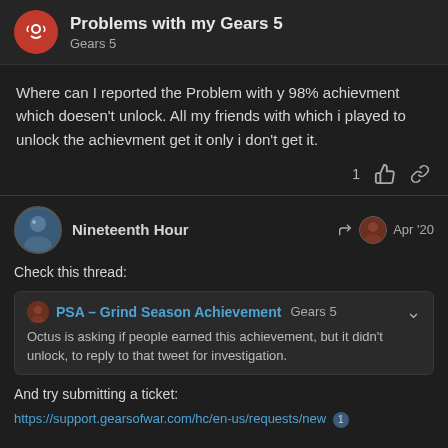Problems with my Gears 5 · Gears 5
Where can I reported the Problem with y 98% achievment which doesen't unlock. All my friends with which i played to unlock the achievment get it only i don't get it.
Nineteenth Hour · Apr '20
Check this thread:
PSA – Grind Season Achievement  Gears 5
Octus is asking if people earned this achievement, but it didn't unlock, to reply to that tweet for investigation.
And try submitting a ticket:
https://support.gearsofwar.com/hc/en-us/requests/new